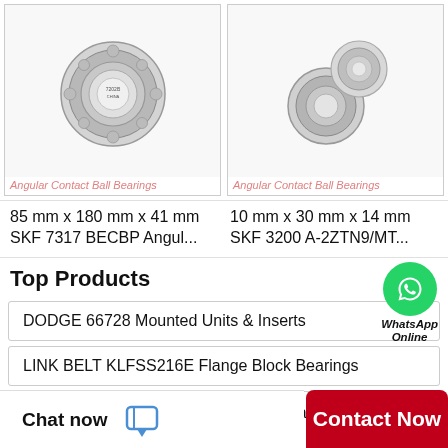[Figure (photo): Angular contact ball bearing product image - 85mm x 180mm x 41mm SKF 7317 BECBP]
Angular Contact Ball Bearings
85 mm x 180 mm x 41 mm
SKF 7317 BECBP Angul...
[Figure (photo): Angular contact ball bearing product image - 10mm x 30mm x 14mm SKF 3200 A-2ZTN9/MT]
Angular Contact Ball Bearings
10 mm x 30 mm x 14 mm
SKF 3200 A-2ZTN9/MT...
Top Products
[Figure (logo): WhatsApp green circle icon with phone logo, labeled 'WhatsApp Online']
DODGE 66728 Mounted Units & Inserts
LINK BELT KLFSS216E Flange Block Bearings
QM INDUSTRIES QAMC18A308SM Cartridge Unit Bearings
Chat now   Contact Now